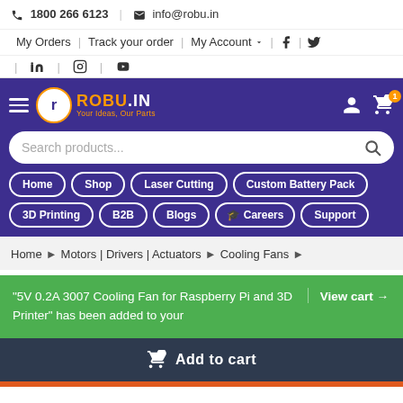📞 1800 266 6123  |  ✉ info@robu.in
My Orders | Track your order | My Account ▾  | Facebook | Twitter | LinkedIn | Instagram | YouTube
[Figure (screenshot): ROBU.IN website navigation header with logo, search bar, and nav buttons: Home, Shop, Laser Cutting, Custom Battery Pack, 3D Printing, B2B, Blogs, Careers, Support]
Home > Motors | Drivers | Actuators > Cooling Fans >
"5V 0.2A 3007 Cooling Fan for Raspberry Pi and 3D Printer" has been added to your  View cart →
🛒 Add to cart